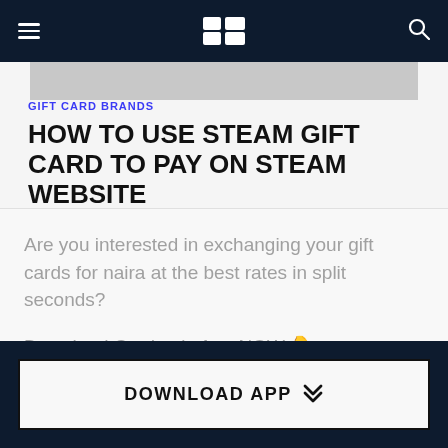≡  [logo]  🔍
GIFT CARD BRANDS
HOW TO USE STEAM GIFT CARD TO PAY ON STEAM WEBSITE
Are you interested in exchanging your gift cards for naira at the best rates in split seconds?

Download Cardtonic App NOW 👇
DOWNLOAD APP ❯❯